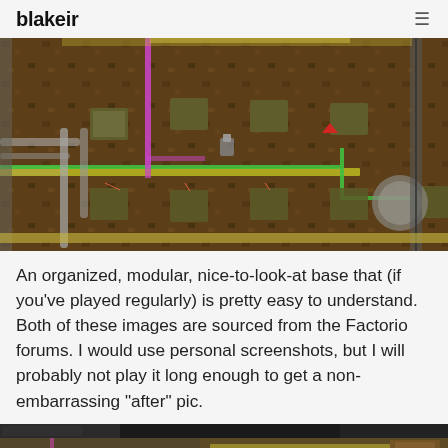blakeir
[Figure (screenshot): Factorio game screenshot showing an organized factory base with conveyor belts, pipes (green and magenta), machines, and industrial buildings viewed from above on a brown terrain background.]
An organized, modular, nice-to-look-at base that (if you've played regularly) is pretty easy to understand. Both of these images are sourced from the Factorio forums. I would use personal screenshots, but I will probably not play it long enough to get a non-embarrassing "after" pic.
[Figure (screenshot): Second Factorio screenshot partially visible at the bottom of the page, showing a top-down view of a factory base with a dark interface bar at the top.]